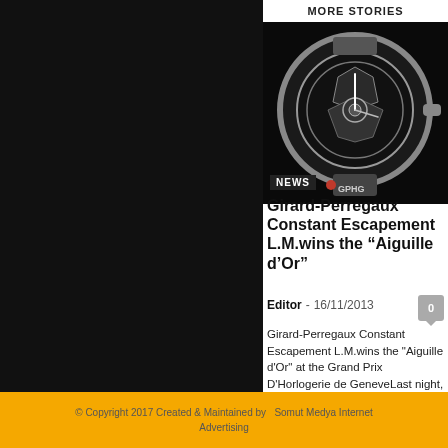investment dia...
jewelle...
necklace | neck...
smartwatch
Swiss watchm...
trends
watch industry pre...
wristwatch | zen...
MORE STORIES
[Figure (photo): A luxury skeleton watch with transparent dial, GPHG branding visible, on dark background]
NEWS
Girard-Perregaux Constant Escapement L.M.wins the "Aiguille d'Or"
Editor  -  16/11/2013
Girard-Perregaux Constant Escapement L.M.wins the "Aiguille d'Or" at the Grand Prix D'Horlogerie de GeneveLast night, Swiss manufacturer Girard-Perregaux received the "Aiguille d'Or" award, the...
© Copyright 2017 Created & Maintained by   Somut Medya Internet Advertising